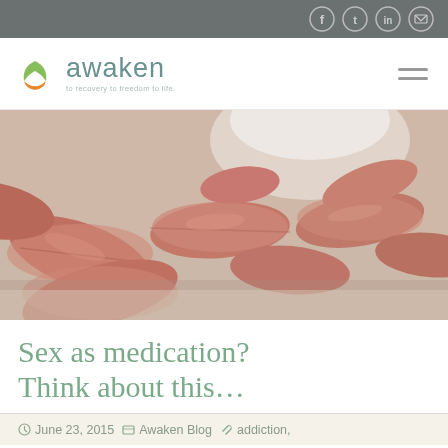[Figure (logo): Awaken logo with tagline 'to recovery to freedom to life']
[Figure (photo): Close-up photo of salmon/pink colored oval medication tablets/pills spilled from a white pill bottle on a white surface]
Sex as medication? Think about this…
June 23, 2015   Awaken Blog   addiction,